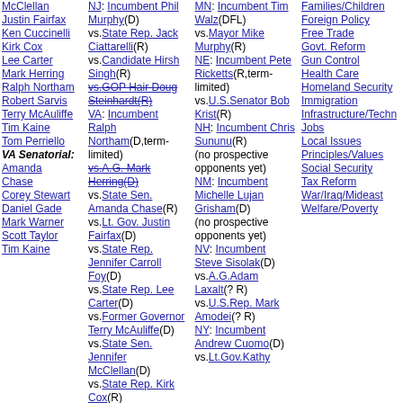McClellan
Justin Fairfax
Ken Cuccinelli
Kirk Cox
Lee Carter
Mark Herring
Ralph Northam
Robert Sarvis
Terry McAuliffe
Tim Kaine
Tom Perriello
VA Senatorial:
Amanda Chase
Corey Stewart
Daniel Gade
Mark Warner
Scott Taylor
Tim Kaine
NJ: Incumbent Phil Murphy(D) vs.State Rep. Jack Ciattarelli(R) vs.Candidate Hirsh Singh(R) vs.GOP Hair Doug Steinhardt(R) VA: Incumbent Ralph Northam(D,term-limited) vs.A.G. Mark Herring(D) vs.State Sen. Amanda Chase(R) vs.Lt. Gov. Justin Fairfax(D) vs.State Rep. Jennifer Carroll Foy(D) vs.State Rep. Lee Carter(D) vs.Former Governor Terry McAuliffe(D) vs.State Sen. Jennifer McClellan(D) vs.State Rep. Kirk Cox(R)
MN: Incumbent Tim Walz(DFL) vs.Mayor Mike Murphy(R) NE: Incumbent Pete Ricketts(R,term-limited) vs.U.S.Senator Bob Krist(R) NH: Incumbent Chris Sununu(R) (no prospective opponents yet) NM: Incumbent Michelle Lujan Grisham(D) (no prospective opponents yet) NV: Incumbent Steve Sisolak(D) vs.A.G.Adam Laxalt(? R) vs.U.S.Rep. Mark Amodei(? R) NY: Incumbent Andrew Cuomo(D) vs.Lt.Gov.Kathy
Families/Children
Foreign Policy
Free Trade
Govt. Reform
Gun Control
Health Care
Homeland Security
Immigration
Infrastructure/Technology
Jobs
Local Issues
Principles/Values
Social Security
Tax Reform
War/Iraq/Mideast
Welfare/Poverty